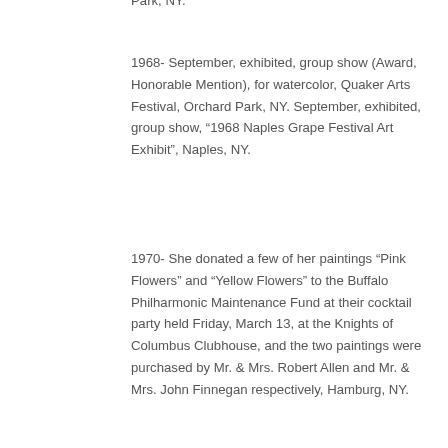Park, NY.
1968- September, exhibited, group show (Award, Honorable Mention), for watercolor, Quaker Arts Festival, Orchard Park, NY. September, exhibited, group show, “1968 Naples Grape Festival Art Exhibit”, Naples, NY.
1970- She donated a few of her paintings “Pink Flowers” and “Yellow Flowers” to the Buffalo Philharmonic Maintenance Fund at their cocktail party held Friday, March 13, at the Knights of Columbus Clubhouse, and the two paintings were purchased by Mr. & Mrs. Robert Allen and Mr. & Mrs. John Finnegan respectively, Hamburg, NY.